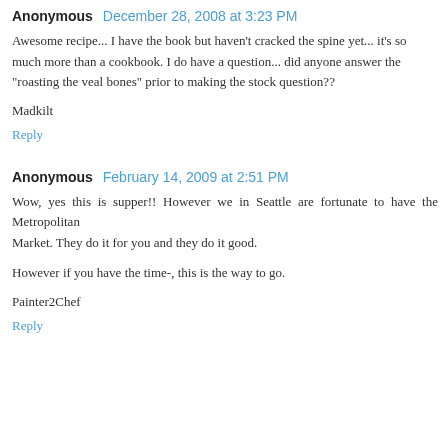Anonymous   December 28, 2008 at 3:23 PM
Awesome recipe... I have the book but haven't cracked the spine yet... it's so much more than a cookbook. I do have a question... did anyone answer the "roasting the veal bones" prior to making the stock question??
Madkilt
Reply
Anonymous   February 14, 2009 at 2:51 PM
Wow, yes this is supper!! However we in Seattle are fortunate to have the Metropolitan Market. They do it for you and they do it good.

However if you have the time-, this is the way to go.
Painter2Chef
Reply